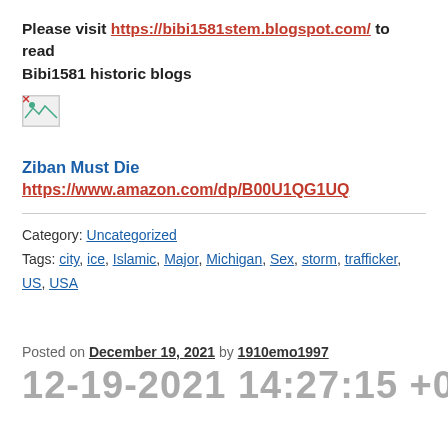Please visit https://bibi1581stem.blogspot.com/ to read Bibi1581 historic blogs
[Figure (other): Broken image placeholder (small thumbnail with image load error icon)]
Ziban Must Die
https://www.amazon.com/dp/B00U1QG1UQ
Category: Uncategorized
Tags: city, ice, Islamic, Major, Michigan, Sex, storm, trafficker, US, USA
Posted on December 19, 2021 by 1910emo1997
12-19-2021 14:27:15 +000